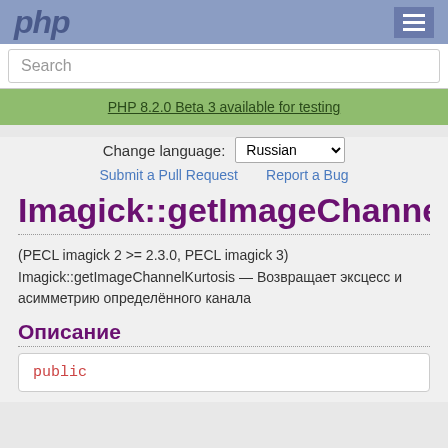php
Search
PHP 8.2.0 Beta 3 available for testing
Change language: Russian
Submit a Pull Request   Report a Bug
Imagick::getImageChannelKurtc
(PECL imagick 2 >= 2.3.0, PECL imagick 3)
Imagick::getImageChannelKurtosis — Возвращает эксцесс и асимметрию определённого канала
Описание
public